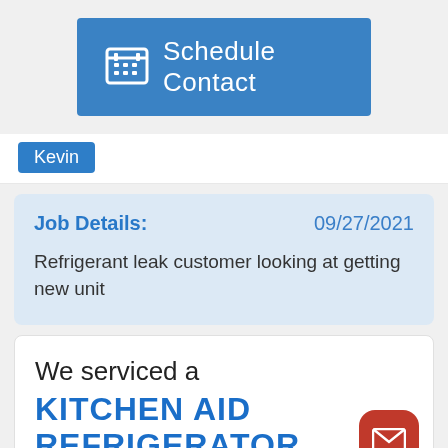[Figure (screenshot): Blue 'Schedule Contact' button with calendar icon]
Kevin
Job Details:   09/27/2021
Refrigerant leak customer looking at getting new unit
We serviced a
KITCHEN AID
REFRIGERATOR